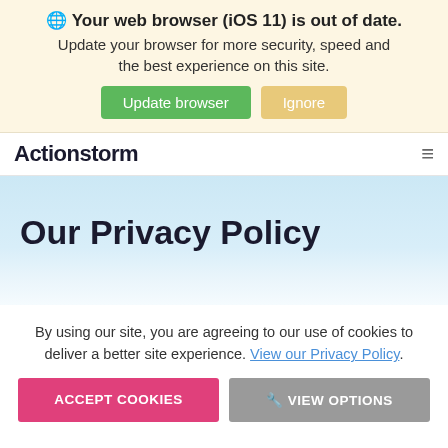Your web browser (iOS 11) is out of date. Update your browser for more security, speed and the best experience on this site. Update browser | Ignore
[Figure (screenshot): ActionStorm website navigation bar with logo on left and hamburger menu on right]
Our Privacy Policy
By using our site, you are agreeing to our use of cookies to deliver a better site experience. View our Privacy Policy.
ACCEPT COOKIES | VIEW OPTIONS